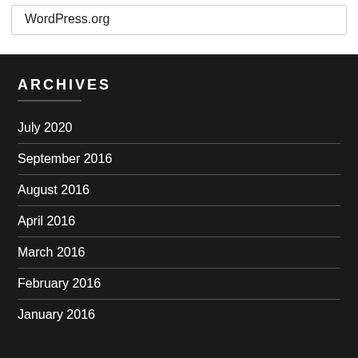WordPress.org
ARCHIVES
July 2020
September 2016
August 2016
April 2016
March 2016
February 2016
January 2016